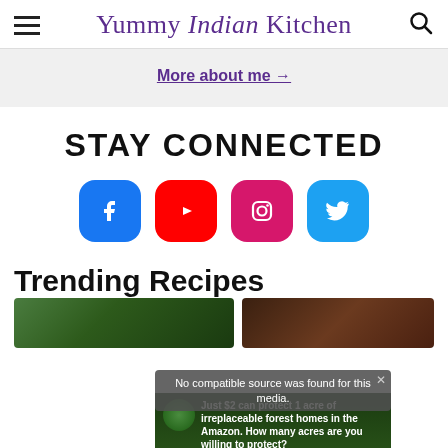Yummy Indian Kitchen
More about me →
STAY CONNECTED
[Figure (infographic): Social media icon buttons: Facebook (blue rounded square), YouTube (red rounded square), Instagram (pink/magenta rounded square), Twitter (light blue rounded square)]
Trending Recipes
[Figure (photo): Two food photos side by side, partially visible at bottom of page]
No compatible source was found for this media.
Just $2 can protect 1 acre of irreplaceable forest homes in the Amazon. How many acres are you willing to protect?